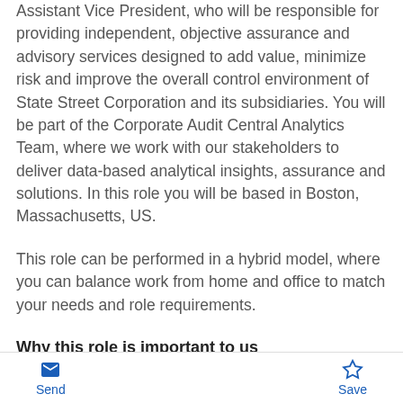Assistant Vice President, who will be responsible for providing independent, objective assurance and advisory services designed to add value, minimize risk and improve the overall control environment of State Street Corporation and its subsidiaries. You will be part of the Corporate Audit Central Analytics Team, where we work with our stakeholders to deliver data-based analytical insights, assurance and solutions. In this role you will be based in Boston, Massachusetts, US.
This role can be performed in a hybrid model, where you can balance work from home and office to match your needs and role requirements.
Why this role is important to us
Send  Save